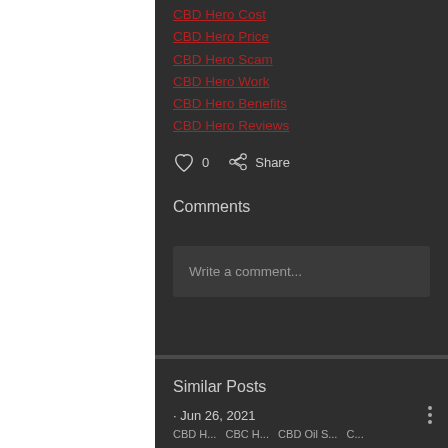CBD Hero Cost
CBD Hero Price
CBD Hero Scam
CBD Hero Work
CBD Hero Benefits
CBD Hero Reviews
0 | Share
Comments
Write a comment...
Similar Posts
· Jun 26, 2021